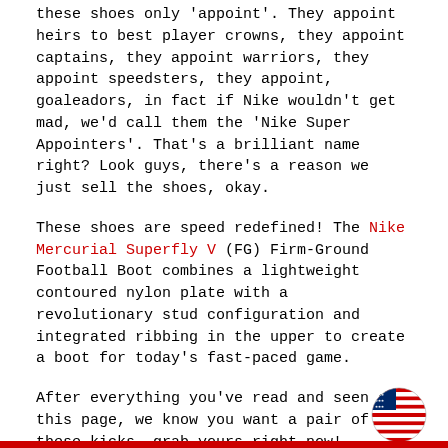these shoes only 'appoint'. They appoint heirs to best player crowns, they appoint captains, they appoint warriors, they appoint speedsters, they appoint, goaleadors, in fact if Nike wouldn't get mad, we'd call them the 'Nike Super Appointers'. That's a brilliant name right? Look guys, there's a reason we just sell the shoes, okay.
These shoes are speed redefined! The Nike Mercurial Superfly V (FG) Firm-Ground Football Boot combines a lightweight contoured nylon plate with a revolutionary stud configuration and integrated ribbing in the upper to create a boot for today's fast-paced game.
After everything you've read and seen on this page, we know you want a pair of these kicks, grab yours right now!
[Figure (illustration): US flag circular badge/icon in bottom right corner]